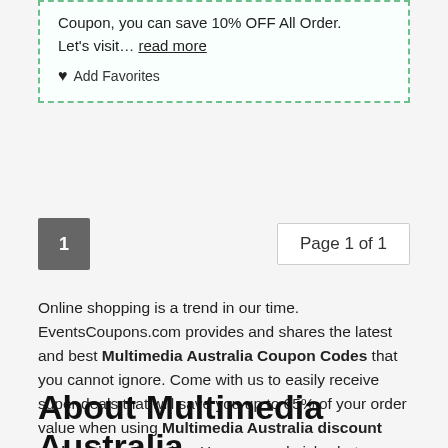Coupon, you can save 10% OFF All Order. Let's visit… read more
♥ Add Favorites
1
Page 1 of 1
Online shopping is a trend in our time. EventsCoupons.com provides and shares the latest and best Multimedia Australia Coupon Codes that you cannot ignore. Come with us to easily receive super deals that will save you up to 65% of your order value when using Multimedia Australia discount codes when shopping. Hurry up and pick whatever Multimedia Australia promo codes you like and enjoy great savings right now.
About Multimedia Australia